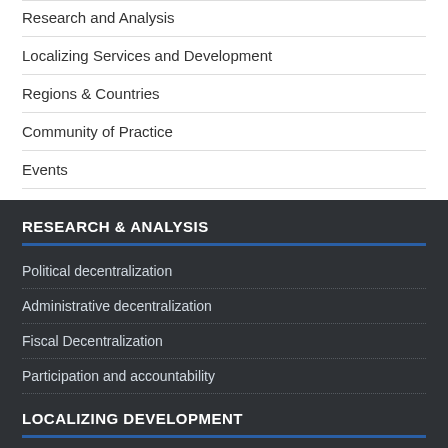Research and Analysis
Localizing Services and Development
Regions & Countries
Community of Practice
Events
RESEARCH & ANALYSIS
Political decentralization
Administrative decentralization
Fiscal Decentralization
Participation and accountability
LOCALIZING DEVELOPMENT